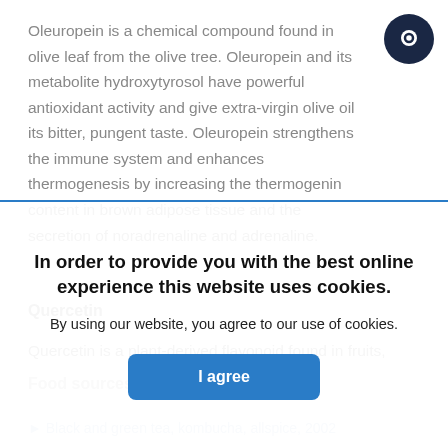Oleuropein is a chemical compound found in olive leaf from the olive tree. Oleuropein and its metabolite hydroxytyrosol have powerful antioxidant activity and give extra-virgin olive oil its bitter, pungent taste. Oleuropein strengthens the immune system and enhances thermogenesis by increasing the thermogenin content in brown adipose tissue and the secretion of noradrenaline and adrenaline.
Quercetin
Quercetin is a plant-derived flavonoid found in fruits, vegetables, leaves and grains. Quercetin is a...
Food sources of quercetin
Black and green tea, kombucha, allspice, 2002
In order to provide you with the best online experience this website uses cookies.
By using our website, you agree to our use of cookies.